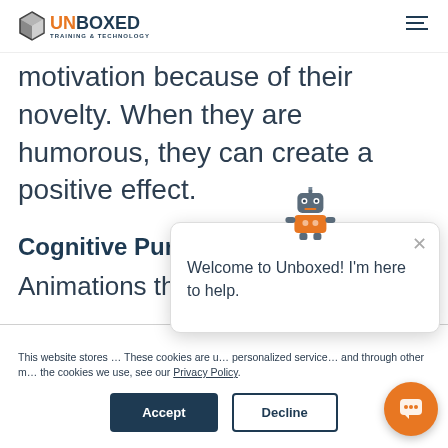UNBOXED TRAINING & TECHNOLOGY
motivation because of their novelty. When they are humorous, they can create a positive effect.
Cognitive Purpose
Animations that …
This website stores … These cookies are u… personalized service… and through other m… the cookies we use, see our Privacy Policy.
Welcome to Unboxed! I'm here to help.